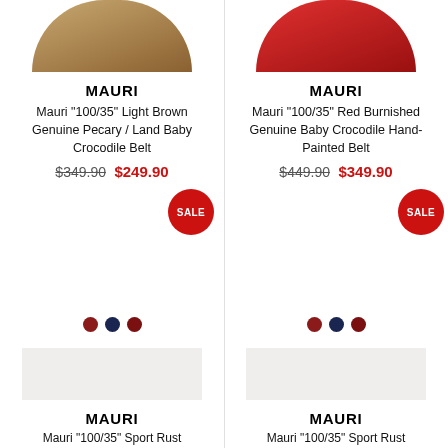[Figure (photo): Light brown belt / hat product image, cropped top]
MAURI
Mauri "100/35" Light Brown Genuine Pecary / Land Baby Crocodile Belt
$349.90 $249.90
[Figure (photo): Red burnished belt product image, cropped top]
MAURI
Mauri "100/35" Red Burnished Genuine Baby Crocodile Hand-Painted Belt
$449.90 $349.90
[Figure (illustration): SALE badge red circle left product]
[Figure (illustration): SALE badge red circle right product]
[Figure (illustration): Three color dots left product: red, navy, maroon]
[Figure (illustration): Three color dots right product: red, navy, maroon]
[Figure (photo): Bottom left product image area (cropped/empty)]
MAURI
Mauri "100/35" Sport Rust
[Figure (photo): Bottom right product image area (cropped/empty)]
MAURI
Mauri "100/35" Sport Rust